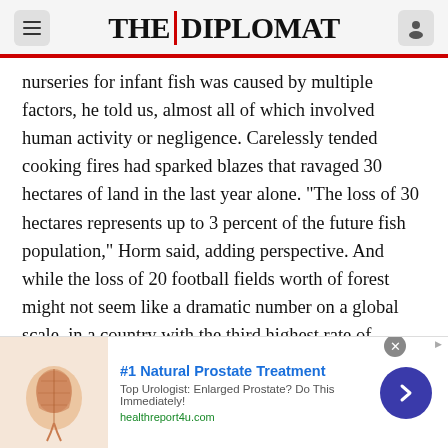THE DIPLOMAT
nurseries for infant fish was caused by multiple factors, he told us, almost all of which involved human activity or negligence. Carelessly tended cooking fires had sparked blazes that ravaged 30 hectares of land in the last year alone. “The loss of 30 hectares represents up to 3 percent of the future fish population,” Horm said, adding perspective. And while the loss of 20 football fields worth of forest might not seem like a dramatic number on a global scale, in a country with the third highest rate of deforestation in the world, Cambodia was a place with few trees to spare.
[Figure (illustration): Advertisement banner for '#1 Natural Prostate Treatment' from healthreport4u.com, featuring a medical illustration of a prostate, bold blue headline, descriptive text, and a dark blue arrow button.]